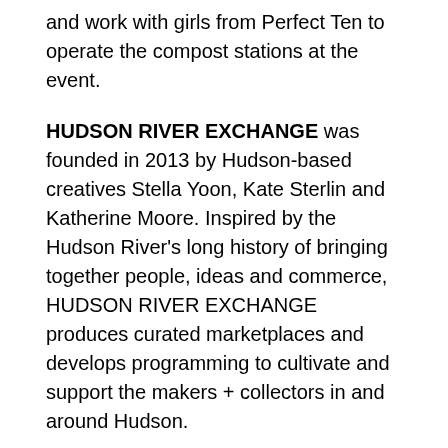and work with girls from Perfect Ten to operate the compost stations at the event.
HUDSON RIVER EXCHANGE was founded in 2013 by Hudson-based creatives Stella Yoon, Kate Sterlin and Katherine Moore. Inspired by the Hudson River's long history of bringing together people, ideas and commerce, HUDSON RIVER EXCHANGE produces curated marketplaces and develops programming to cultivate and support the makers + collectors in and around Hudson.
Bringing these makers + collectors of diverse creative disciplines out of their studios, farms, and kitchens, HUDSON RIVER EXCHANGE has become the fulcrum of the Hudson Valley maker